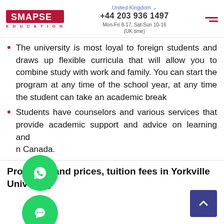SMAPSE EDUCATION | United Kingdom | +44 203 936 1497 | Mon-Fri 8-17, Sat-Sun 10-16 (UK time)
The university is most loyal to foreign students and draws up flexible curricula that will allow you to combine study with work and family. You can start the program at any time of the school year, at any time the student can take an academic break
Students have counselors and various services that provide academic support and advice on learning and in Canada.
Programs and prices, tuition fees in Yorkville University